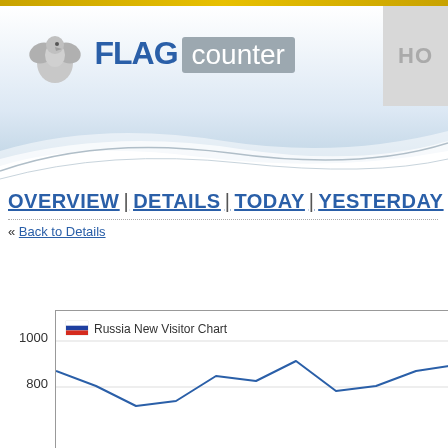[Figure (logo): Flag Counter logo with eagle icon, bold blue FLAG text and grey 'counter' badge]
HO
OVERVIEW | DETAILS | TODAY | YESTERDAY |
« Back to Details
[Figure (line-chart): Line chart showing Russia new visitor counts, y-axis shows 800 and 1000 visible, line trends downward from left then has peaks]